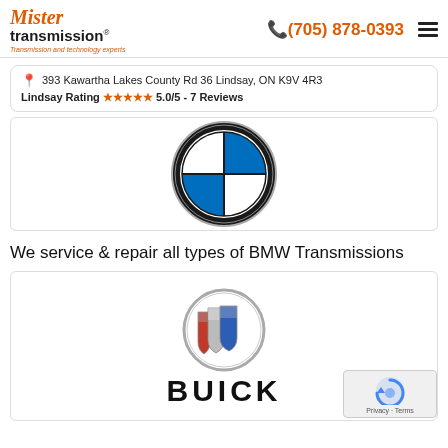Mister transmission® - Transmission and technology experts | (705) 878-0393
393 Kawartha Lakes County Rd 36 Lindsay, ON K9V 4R3
Lindsay Rating ★★★★★ 5.0/5 - 7 Reviews
[Figure (logo): BMW logo - circular emblem with blue and white quadrants and black ring]
We service & repair all types of BMW Transmissions
[Figure (logo): Buick logo - three shields in a circle with BUICK text below]